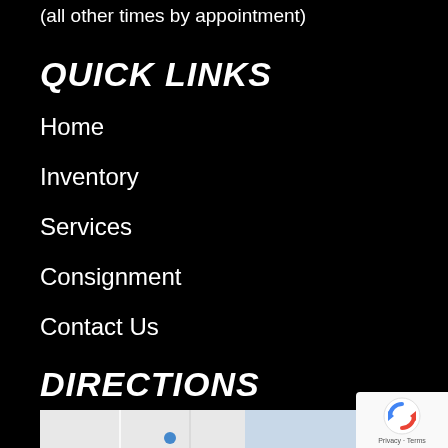(all other times by appointment)
QUICK LINKS
Home
Inventory
Services
Consignment
Contact Us
DIRECTIONS
[Figure (map): Google Map showing location with a blue marker dot, partial street map view with blue and gray regions.]
[Figure (other): reCAPTCHA badge with spinning arrows logo and Privacy/Terms text.]